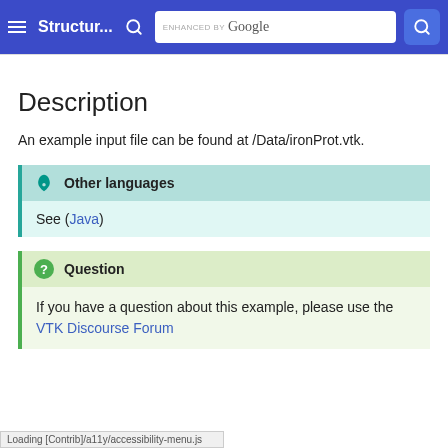Structur... [search] ENHANCED BY Google [search button]
Description
An example input file can be found at /Data/ironProt.vtk.
Other languages
See (Java)
Question
If you have a question about this example, please use the VTK Discourse Forum
Loading [Contrib]/a11y/accessibility-menu.js